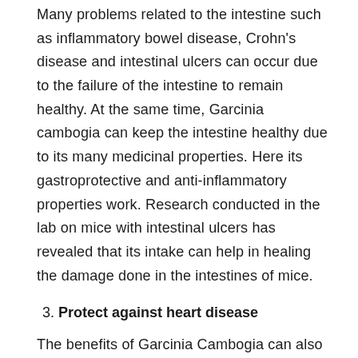Many problems related to the intestine such as inflammatory bowel disease, Crohn's disease and intestinal ulcers can occur due to the failure of the intestine to remain healthy. At the same time, Garcinia cambogia can keep the intestine healthy due to its many medicinal properties. Here its gastroprotective and anti-inflammatory properties work. Research conducted in the lab on mice with intestinal ulcers has revealed that its intake can help in healing the damage done in the intestines of mice.
3. Protect against heart disease
The benefits of Garcinia Cambogia can also help protect against heart disease. Increased levels of cholesterol in the body can cause many diseases, including heart disease. To avoid this, it is necessary to take supplements